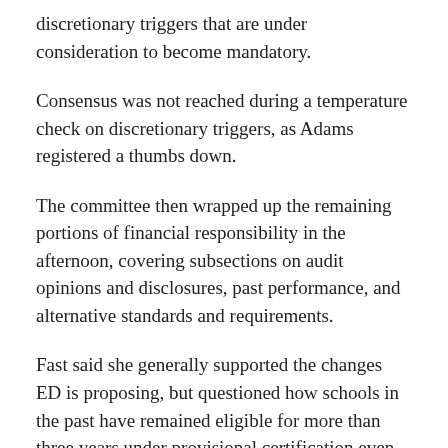discretionary triggers that are under consideration to become mandatory.
Consensus was not reached during a temperature check on discretionary triggers, as Adams registered a thumbs down.
The committee then wrapped up the remaining portions of financial responsibility in the afternoon, covering subsections on audit opinions and disclosures, past performance, and alternative standards and requirements.
Fast said she generally supported the changes ED is proposing, but questioned how schools in the past have remained eligible for more than three years under provisional certification even though financial problems were identified. Internal counsel for ED clarified that institutions can be provisionally certified